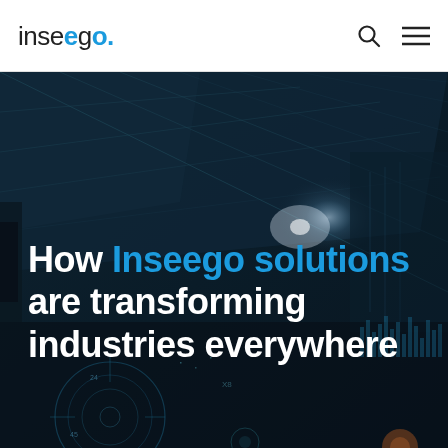inseego.
[Figure (photo): Dark atmospheric industrial/technology background image with futuristic HUD overlays, ceiling perspective with diagonal structural lines, bright light source in center-right, and digital data visualizations in lower portion]
How Inseego solutions are transforming industries everywhere